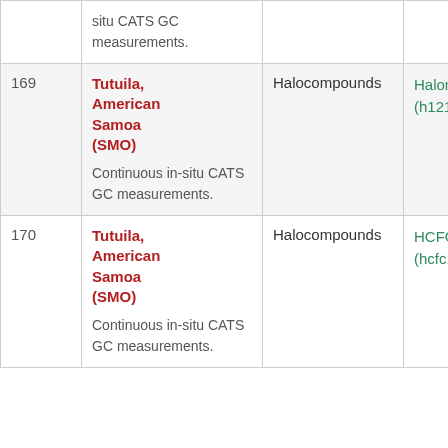| # | Station | Category | Compound |
| --- | --- | --- | --- |
|  | Continuous in-situ CATS GC measurements. |  |  |
| 169 | Tutuila, American Samoa (SMO)
Continuous in-situ CATS GC measurements. | Halocompounds | Halon-1211 (h1211) |
| 170 | Tutuila, American Samoa (SMO)
Continuous in-situ CATS GC measurements. | Halocompounds | HCFC-142b (hcfc142b) |